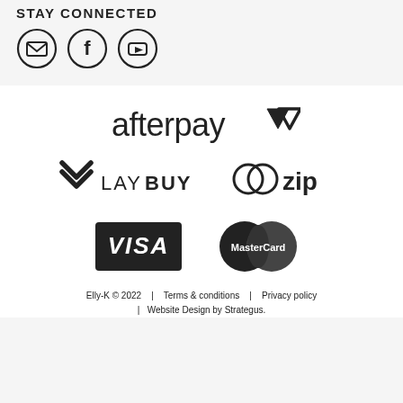STAY CONNECTED
[Figure (logo): Three social media icon buttons in circles: email/envelope, Facebook, YouTube]
[Figure (logo): Afterpay logo with triangle/arrow motif]
[Figure (logo): Laybuy logo with heart/chevron icon and LAYBUY text]
[Figure (logo): Zip payment logo with overlapping circles and 'zip' text]
[Figure (logo): VISA card logo in dark rectangle]
[Figure (logo): MasterCard logo with two overlapping circles]
Elly-K © 2022    |    Terms & conditions    |    Privacy policy    |    Website Design by Strategus.